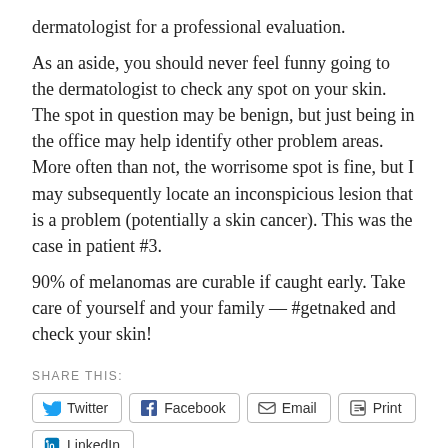dermatologist for a professional evaluation.
As an aside, you should never feel funny going to the dermatologist to check any spot on your skin. The spot in question may be benign, but just being in the office may help identify other problem areas. More often than not, the worrisome spot is fine, but I may subsequently locate an inconspicious lesion that is a problem (potentially a skin cancer). This was the case in patient #3.
90% of melanomas are curable if caught early. Take care of yourself and your family — #getnaked and check your skin!
SHARE THIS:
Twitter
Facebook
Email
Print
LinkedIn
Pinterest
Pocket